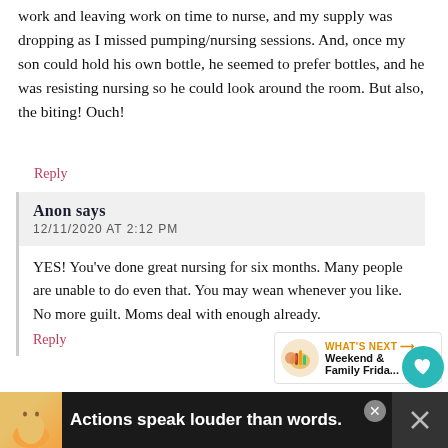work and leaving work on time to nurse, and my supply was dropping as I missed pumping/nursing sessions. And, once my son could hold his own bottle, he seemed to prefer bottles, and he was resisting nursing so he could look around the room. But also, the biting! Ouch!
Reply
Anon says
12/11/2020 AT 2:12 PM
YES! You've done great nursing for six months. Many people are unable to do even that. You may wean whenever you like. No more guilt. Moms deal with enough already.
Reply
Anonymous says
Actions speak louder than words.